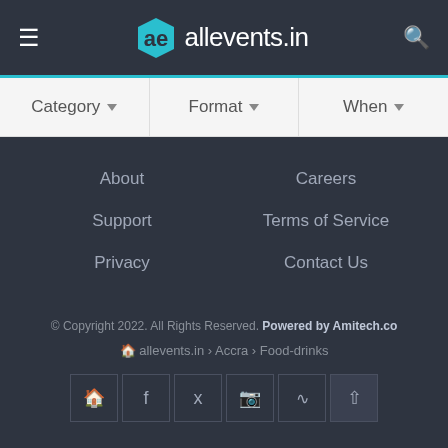allevents.in
Category ▾   Format ▾   When ▾
About
Careers
Support
Terms of Service
Privacy
Contact Us
© Copyright 2022. All Rights Reserved. Powered by Amitech.co
allevents.in › Accra › Food-drinks